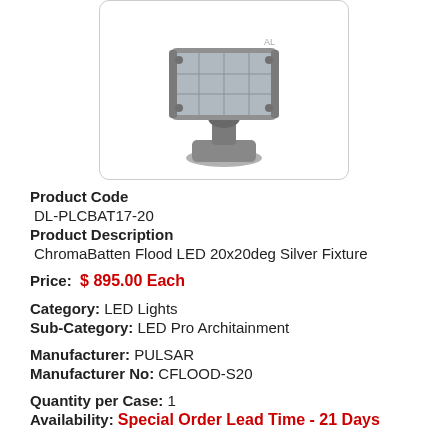[Figure (photo): Photo of a gray LED flood light fixture (ChromaBatten Flood LED) mounted on a bracket, viewed from above-side angle, shown against a white background inside a rounded-corner bordered box.]
Product Code
DL-PLCBAT17-20
Product Description
ChromaBatten Flood LED 20x20deg Silver Fixture
Price:  $ 895.00 Each
Category: LED Lights
Sub-Category: LED Pro Architainment
Manufacturer: PULSAR
Manufacturer No: CFLOOD-S20
Quantity per Case: 1
Availability: Special Order Lead Time - 21 Days